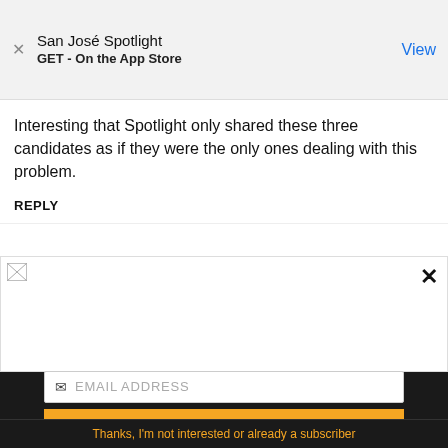San José Spotlight
GET - On the App Store
Interesting that Spotlight only shared these three candidates as if they were the only ones dealing with this problem.
REPLY
[Figure (screenshot): Broken image placeholder icon in white area]
EMAIL ADDRESS
SUBSCRIBE
Thanks, I'm not interested or already a subscriber